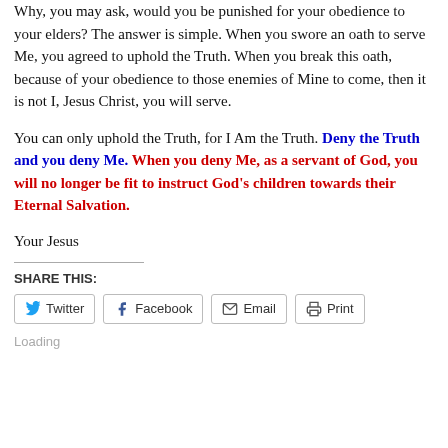Why, you may ask, would you be punished for your obedience to your elders? The answer is simple. When you swore an oath to serve Me, you agreed to uphold the Truth. When you break this oath, because of your obedience to those enemies of Mine to come, then it is not I, Jesus Christ, you will serve.
You can only uphold the Truth, for I Am the Truth. Deny the Truth and you deny Me. When you deny Me, as a servant of God, you will no longer be fit to instruct God's children towards their Eternal Salvation.
Your Jesus
SHARE THIS:
Twitter | Facebook | Email | Print
Loading